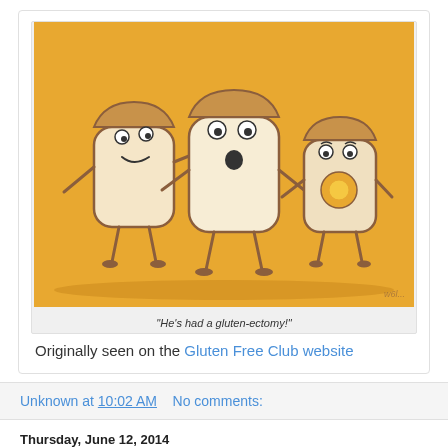[Figure (illustration): Cartoon illustration of three anthropomorphic bread slices with faces and limbs on a yellow/orange background. One bread slice appears to have a hole in it. Caption reads: "He's had a gluten-ectomy!"]
"He's had a gluten-ectomy!"
Originally seen on the Gluten Free Club website
Unknown at 10:02 AM   No comments:
Thursday, June 12, 2014
Pasta Flyer in New York City and Beyond!